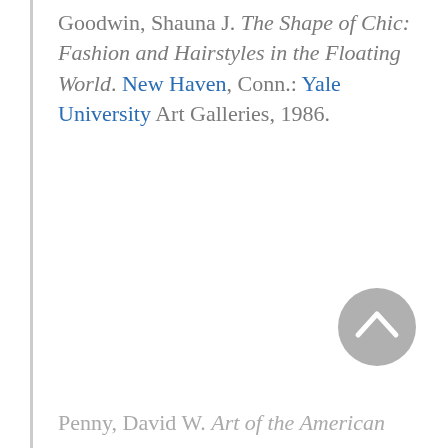Goodwin, Shauna J. The Shape of Chic: Fashion and Hairstyles in the Floating World. New Haven, Conn.: Yale University Art Galleries, 1986.
[Figure (other): A circular grey scroll-to-top button with an upward-pointing chevron/caret icon]
Penny, David W. Art of the American